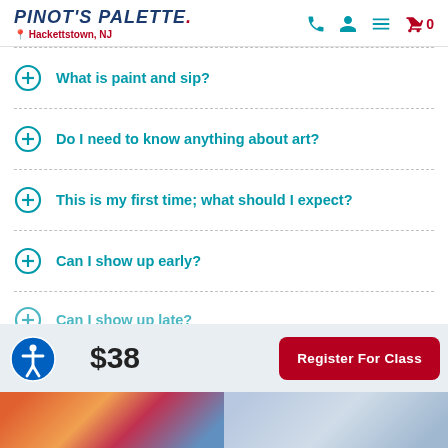Pinot's Palette – Hackettstown, NJ
What is paint and sip?
Do I need to know anything about art?
This is my first time; what should I expect?
Can I show up early?
Can I show up late?
$38
Register For Class